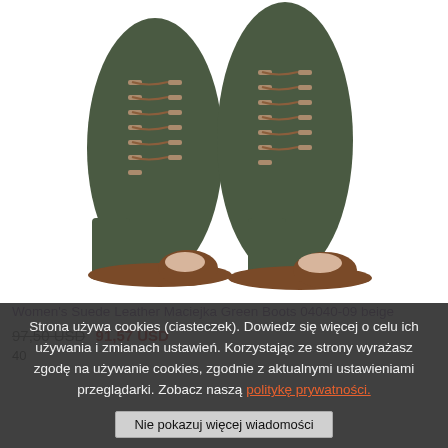[Figure (photo): Photo of green suede leather lace-up heeled boots (Women's Maciejka Green Boots) on a white background, showing open toe and chunky block heel with brown leather laces.]
Women's Suede Leather Maciejka Green Boots 04040-09 beige
97,50 USD  91,57 USD
40
Strona używa cookies (ciasteczek). Dowiedz się więcej o celu ich używania i zmianach ustawień. Korzystając ze strony wyrażasz zgodę na używanie cookies, zgodnie z aktualnymi ustawieniami przeglądarki. Zobacz naszą politykę prywatności.
Nie pokazuj więcej wiadomości